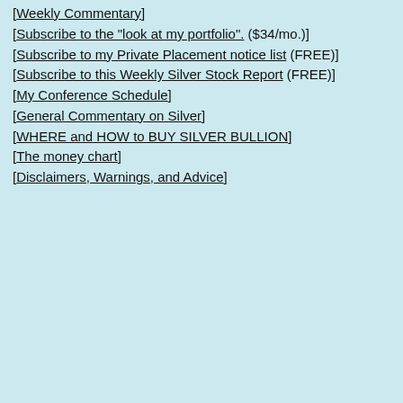[Weekly Commentary]
[Subscribe to the “look at my portfolio”. ($34/mo.)]
[Subscribe to my Private Placement notice list (FREE)]
[Subscribe to this Weekly Silver Stock Report (FREE)]
[My Conference Schedule]
[General Commentary on Silver]
[WHERE and HOW to BUY SILVER BULLION]
[The money chart]
[Disclaimers, Warnings, and Advice]